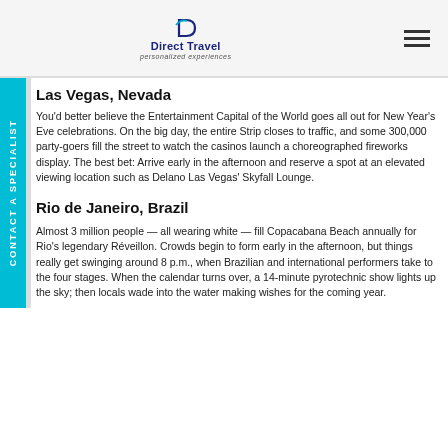Direct Travel — personalized experiences
Las Vegas, Nevada
You'd better believe the Entertainment Capital of the World goes all out for New Year's Eve celebrations. On the big day, the entire Strip closes to traffic, and some 300,000 party-goers fill the street to watch the casinos launch a choreographed fireworks display. The best bet: Arrive early in the afternoon and reserve a spot at an elevated viewing location such as Delano Las Vegas' Skyfall Lounge.
Rio de Janeiro, Brazil
Almost 3 million people — all wearing white — fill Copacabana Beach annually for Rio's legendary Réveillon. Crowds begin to form early in the afternoon, but things really get swinging around 8 p.m., when Brazilian and international performers take to the four stages. When the calendar turns over, a 14-minute pyrotechnic show lights up the sky; then locals wade into the water making wishes for the coming year.